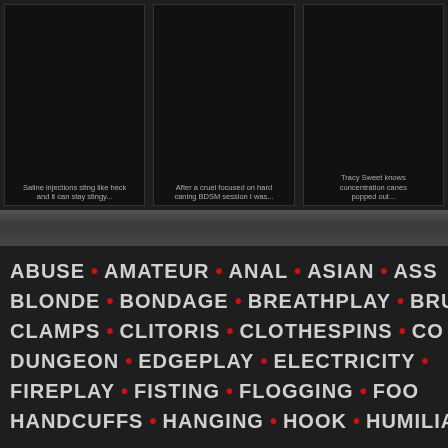[Figure (photo): Dark thumbnail image placeholder]
Saline injections sting like heck and it can stay stingy...
[Figure (photo): Dark thumbnail image placeholder]
After a cruel focused on hard caning BDSM session I was...
[Figure (photo): Dark thumbnail image placeholder]
Tracy Sweet knows concentration canes popped out...
ABUSE • AMATEUR • ANAL • ASIAN • ASS
BLONDE • BONDAGE • BREATHPLAY • BRUISE
CLAMPS • CLITORIS • CLOTHESPINS • CO
DUNGEON • EDGEPLAY • ELECTRICITY •
FIREPLAY • FISTING • FLOGGING • FOO
HANDCUFFS • HANGING • HOOK • HUMILIAT